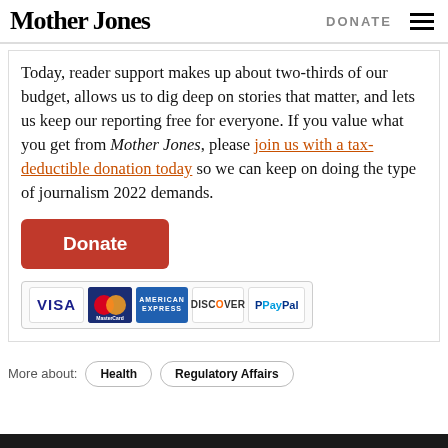Mother Jones | DONATE
Today, reader support makes up about two-thirds of our budget, allows us to dig deep on stories that matter, and lets us keep our reporting free for everyone. If you value what you get from Mother Jones, please join us with a tax-deductible donation today so we can keep on doing the type of journalism 2022 demands.
[Figure (other): Orange 'Donate' button followed by payment method icons: VISA, MasterCard, American Express, Discover, PayPal]
More about: Health  Regulatory Affairs